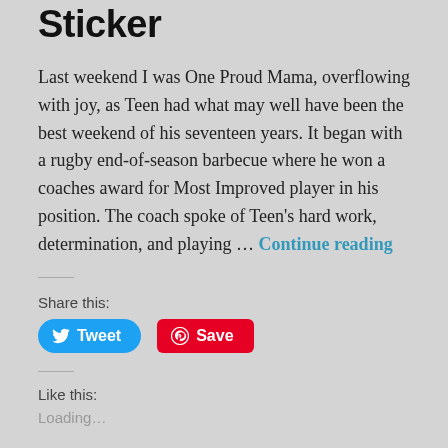Sticker
Last weekend I was One Proud Mama, overflowing with joy, as Teen had what may well have been the best weekend of his seventeen years. It began with a rugby end-of-season barbecue where he won a coaches award for Most Improved player in his position. The coach spoke of Teen's hard work, determination, and playing … Continue reading
Share this:
Tweet
Save
Like this:
Loading...